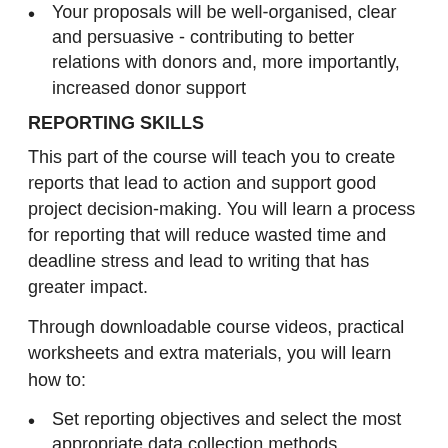Your proposals will be well-organised, clear and persuasive - contributing to better relations with donors and, more importantly, increased donor support
REPORTING SKILLS
This part of the course will teach you to create reports that lead to action and support good project decision-making. You will learn a process for reporting that will reduce wasted time and deadline stress and lead to writing that has greater impact.
Through downloadable course videos, practical worksheets and extra materials, you will learn how to:
Set reporting objectives and select the most appropriate data collection methods
Analyse data and draw conclusions / identify lessons learned